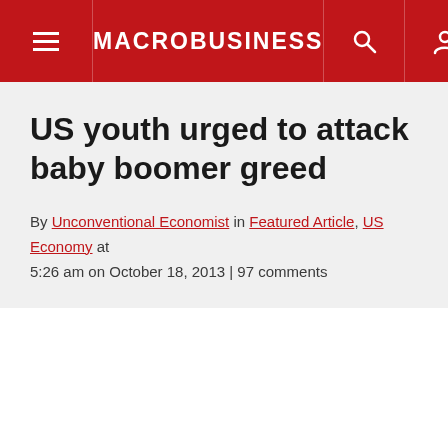MACROBUSINESS
US youth urged to attack baby boomer greed
By Unconventional Economist in Featured Article, US Economy at 5:26 am on October 18, 2013 | 97 comments